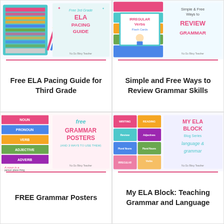[Figure (illustration): Thumbnail image for Free 3rd Grade ELA Pacing Guide showing a colorful pacing guide chart with pencils]
Free ELA Pacing Guide for Third Grade
[Figure (illustration): Thumbnail image for Simple and Free Ways to Review Grammar Skills showing verb flash cards and a cartoon student]
Simple and Free Ways to Review Grammar Skills
[Figure (illustration): Thumbnail image for FREE Grammar Posters (and 3 ways to use them) showing colorful grammar posters with noun and pronoun text]
FREE Grammar Posters
[Figure (illustration): Thumbnail image for My ELA Block Blog Series: Language & Grammar showing colorful labeled bins/cards]
My ELA Block: Teaching Grammar and Language